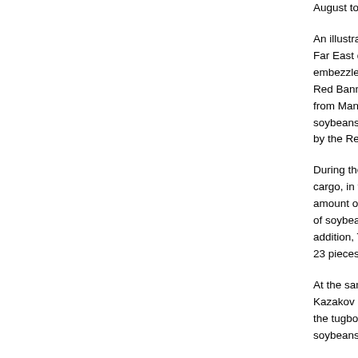August to early Sep
An illustrative exam Far East during t embezzlement and Red Banner Amur from Manchuria in soybeans, salt, chu by the Red Army, w
During the unloadin cargo, in the perso amount of captured of soybeans and c addition, Tropa bro 23 pieces of bags, 4
At the same time, d Kazakov and freela the tugboat on a p soybeans, which th
The head of the pla instead of preventi